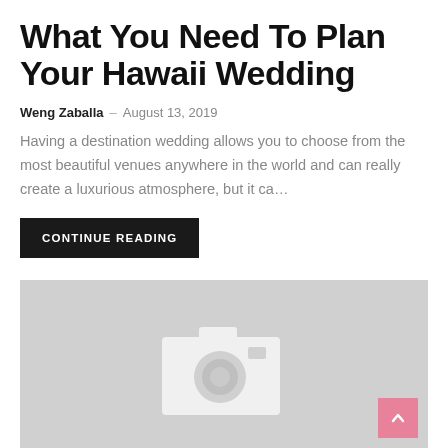What You Need To Plan Your Hawaii Wedding
Weng Zaballa – August 13, 2019
Having a destination wedding allows you to choose from the most beautiful venues anywhere in the world and can really create a luxurious atmosphere, but it ca…
CONTINUE READING
[Figure (photo): Gray placeholder image with a white camera icon in the center]